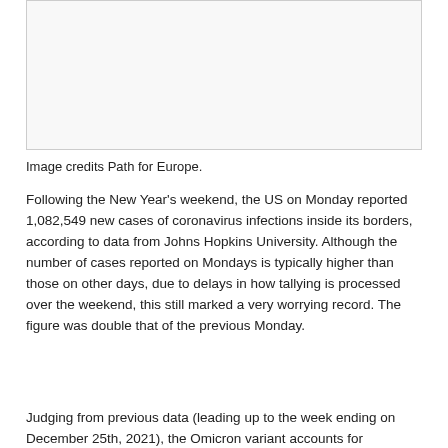[Figure (photo): Image placeholder box for a photo credited to Path for Europe]
Image credits Path for Europe.
Following the New Year's weekend, the US on Monday reported 1,082,549 new cases of coronavirus infections inside its borders, according to data from Johns Hopkins University. Although the number of cases reported on Mondays is typically higher than those on other days, due to delays in how tallying is processed over the weekend, this still marked a very worrying record. The figure was double that of the previous Monday.
Judging from previous data (leading up to the week ending on December 25th, 2021), the Omicron variant accounts for